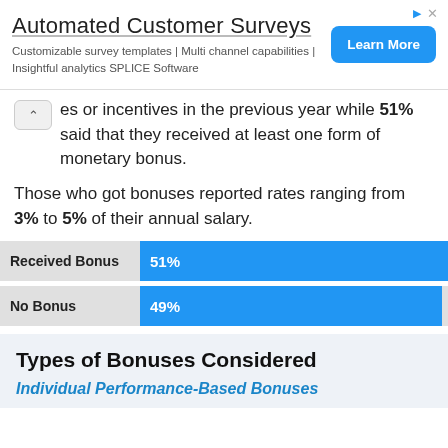[Figure (infographic): Advertisement banner for Automated Customer Surveys by SPLICE Software with a Learn More button]
es or incentives in the previous year while 51% said that they received at least one form of monetary bonus.
Those who got bonuses reported rates ranging from 3% to 5% of their annual salary.
[Figure (bar-chart): Received Bonus vs No Bonus]
Types of Bonuses Considered
Individual Performance-Based Bonuses